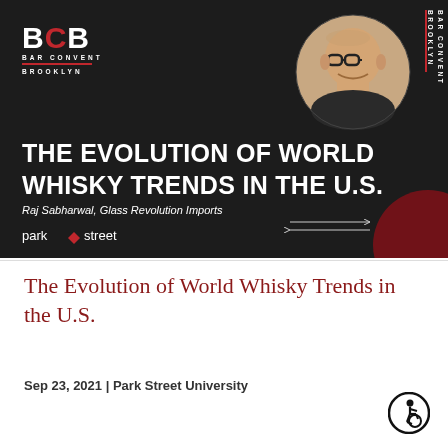[Figure (infographic): BCB Bar Convent Brooklyn event banner with dark background, speaker portrait photo in circle, rotated text 'BAR CONVENT BROOKLYN', decorative dark red circle, arrow lines, and Park Street logo]
The Evolution of World Whisky Trends in the U.S.
Sep 23, 2021 | Park Street University
[Figure (logo): Accessibility/wheelchair user icon in black circle]